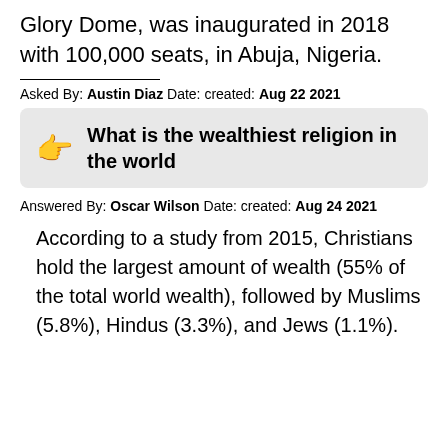Glory Dome, was inaugurated in 2018 with 100,000 seats, in Abuja, Nigeria.
Asked By: Austin Diaz Date: created: Aug 22 2021
What is the wealthiest religion in the world
Answered By: Oscar Wilson Date: created: Aug 24 2021
According to a study from 2015, Christians hold the largest amount of wealth (55% of the total world wealth), followed by Muslims (5.8%), Hindus (3.3%), and Jews (1.1%).